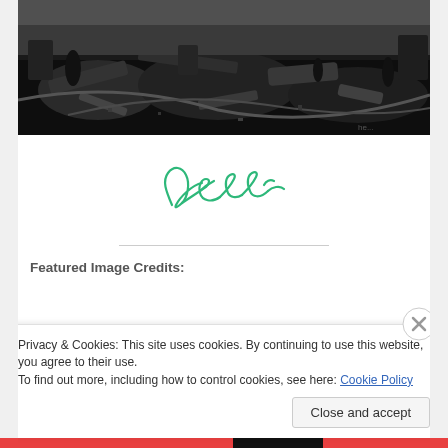[Figure (photo): Black and white photograph of disaster/crash wreckage scene with debris, machinery, and people in the background]
[Figure (illustration): Cursive handwritten-style signature reading 'Amber' in green ink]
Featured Image Credits:
Privacy & Cookies: This site uses cookies. By continuing to use this website, you agree to their use.
To find out more, including how to control cookies, see here: Cookie Policy
Close and accept